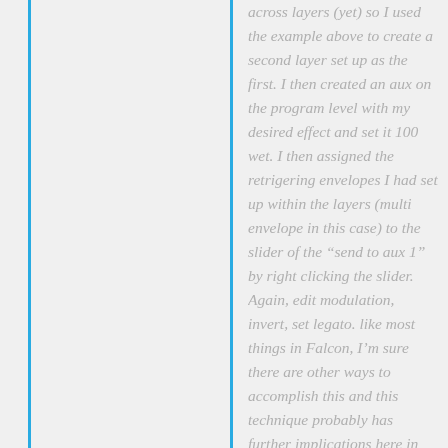across layers (yet) so I used the example above to create a second layer set up as the first. I then created an aux on the program level with my desired effect and set it 100 wet. I then assigned the retrigering envelopes I had set up within the layers (multi envelope in this case) to the slider of the "send to aux 1" by right clicking the slider. Again, edit modulation, invert, set legato. like most things in Falcon, I'm sure there are other ways to accomplish this and this technique probably has further implications here in sound